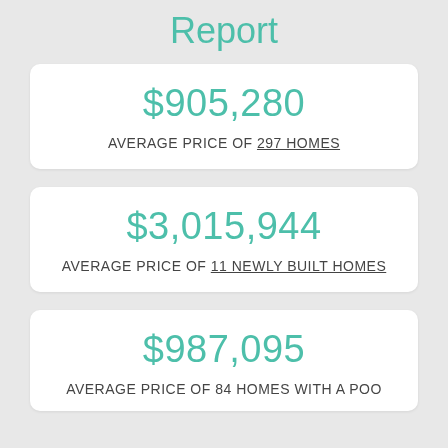Report
$905,280
AVERAGE PRICE OF 297 HOMES
$3,015,944
AVERAGE PRICE OF 11 NEWLY BUILT HOMES
$987,095
AVERAGE PRICE OF 84 HOMES WITH A POOL